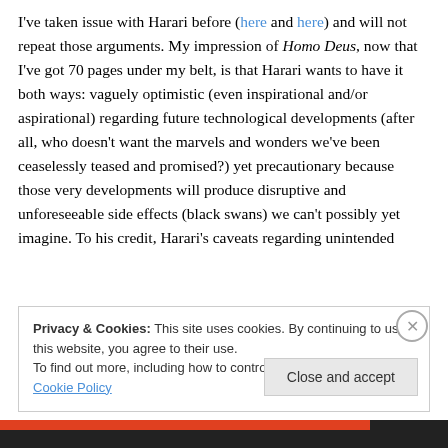I've taken issue with Harari before (here and here) and will not repeat those arguments. My impression of Homo Deus, now that I've got 70 pages under my belt, is that Harari wants to have it both ways: vaguely optimistic (even inspirational and/or aspirational) regarding future technological developments (after all, who doesn't want the marvels and wonders we've been ceaselessly teased and promised?) yet precautionary because those very developments will produce disruptive and unforeseeable side effects (black swans) we can't possibly yet imagine. To his credit, Harari's caveats regarding unintended
Privacy & Cookies: This site uses cookies. By continuing to use this website, you agree to their use. To find out more, including how to control cookies, see here: Cookie Policy